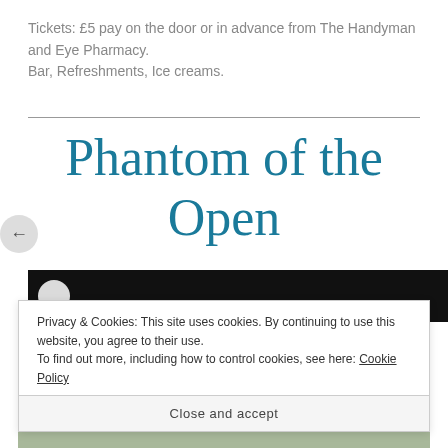Tickets: £5 pay on the door or in advance from The Handyman and Eye Pharmacy.
Bar, Refreshments, Ice creams.
Phantom of the Open
[Figure (screenshot): Dark video thumbnail with white circular play button]
Privacy & Cookies: This site uses cookies. By continuing to use this website, you agree to their use.
To find out more, including how to control cookies, see here: Cookie Policy
Close and accept
[Figure (photo): Bottom strip showing a partial photo]